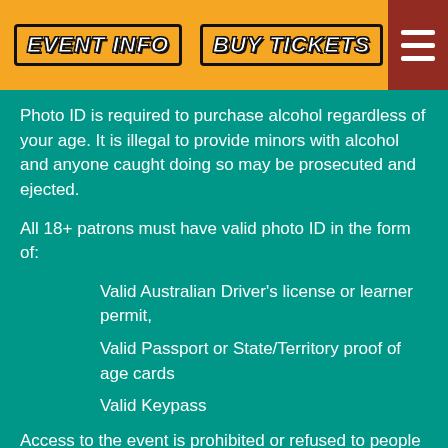EVENT INFO   BUY TICKETS
Photo ID is required to purchase alcohol regardless of your age. It is illegal to provide minors with alcohol and anyone caught doing so may be prosecuted and ejected.
All 18+ patrons must have valid photo ID in the form of:
Valid Australian Driver's license or learner permit,
Valid Passport or State/Territory proof of age cards
Valid Keypass
Access to the event is prohibited or refused to people who: